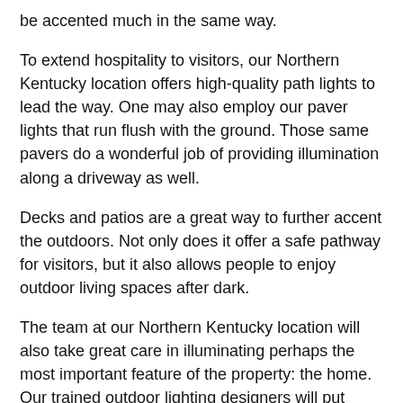be accented much in the same way.
To extend hospitality to visitors, our Northern Kentucky location offers high-quality path lights to lead the way. One may also employ our paver lights that run flush with the ground. Those same pavers do a wonderful job of providing illumination along a driveway as well.
Decks and patios are a great way to further accent the outdoors. Not only does it offer a safe pathway for visitors, but it also allows people to enjoy outdoor living spaces after dark.
The team at our Northern Kentucky location will also take great care in illuminating perhaps the most important feature of the property: the home. Our trained outdoor lighting designers will put together a plan to accent the architectural features specific to each building or property.